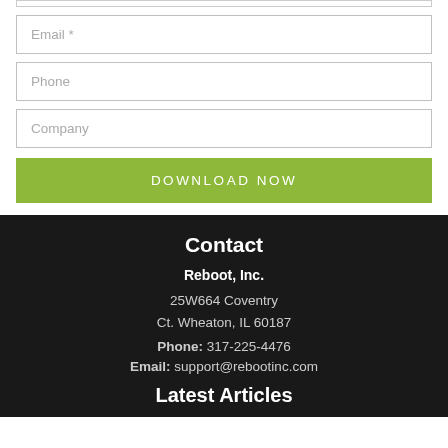[Figure (screenshot): Web form with Email, Phone, Company fields and a Download Now button]
Contact
Reboot, Inc.
25W664 Coventry
Ct. Wheaton, IL 60187
Phone: 317-225-4476
Email: support@rebootinc.com
Latest Articles